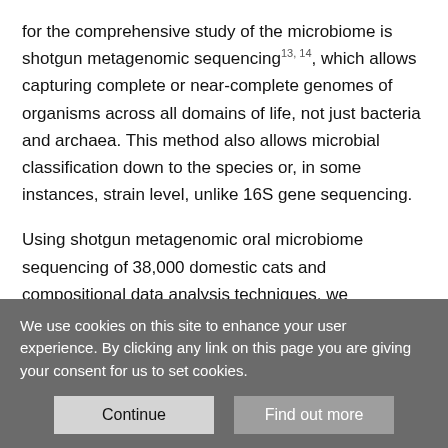for the comprehensive study of the microbiome is shotgun metagenomic sequencing13, 14, which allows capturing complete or near-complete genomes of organisms across all domains of life, not just bacteria and archaea. This method also allows microbial classification down to the species or, in some instances, strain level, unlike 16S gene sequencing.
Using shotgun metagenomic oral microbiome sequencing of 38,000 domestic cats and compositional data analysis techniques, we performed a comprehensive survey of the feline oral microbiome, identifying 8,344 microbial species. We used these data in conjunction with user provided health history information on the cats to develop a feline dental health test able
We use cookies on this site to enhance your user experience. By clicking any link on this page you are giving your consent for us to set cookies.